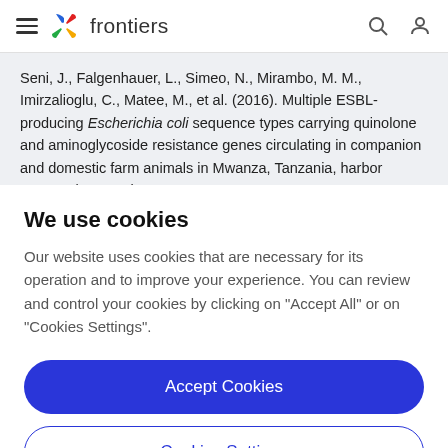frontiers
Seni, J., Falgenhauer, L., Simeo, N., Mirambo, M. M., Imirzalioglu, C., Matee, M., et al. (2016). Multiple ESBL-producing Escherichia coli sequence types carrying quinolone and aminoglycoside resistance genes circulating in companion and domestic farm animals in Mwanza, Tanzania, harbor commonly occurring
We use cookies
Our website uses cookies that are necessary for its operation and to improve your experience. You can review and control your cookies by clicking on "Accept All" or on "Cookies Settings".
Accept Cookies
Cookies Settings